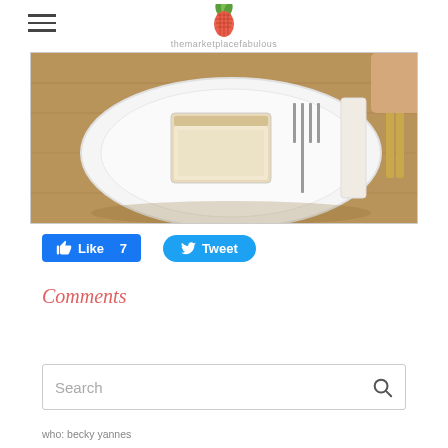themarketplacefabulous
[Figure (photo): A slice of white bread or cake on a white plate with a fork and folded napkin on a wooden table]
[Figure (infographic): Facebook Like button showing count 7, and Twitter Tweet button]
Comments
Search
who: becky yannes